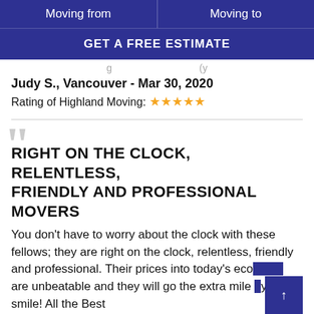Moving from | Moving to
GET A FREE ESTIMATE
g ... (y
Judy S., Vancouver -  Mar 30, 2020
Rating of Highland Moving: ★★★★★
RIGHT ON THE CLOCK, RELENTLESS, FRIENDLY AND PROFESSIONAL MOVERS
You don't have to worry about the clock with these fellows; they are right on the clock, relentless, friendly and professional. Their prices into today's eco... are unbeatable and they will go the extra mile ... with a smile! All the Best